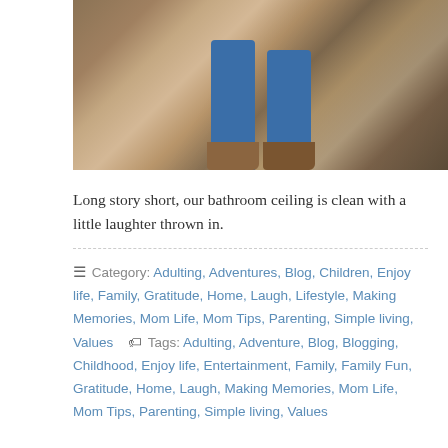[Figure (photo): Photo of child's legs in blue jeans and brown boots/shoes walking on gravel/dirt ground, viewed from below the knees, with shadow visible on the ground]
Long story short, our bathroom ceiling is clean with a little laughter thrown in.
☰ Category: Adulting, Adventures, Blog, Children, Enjoy life, Family, Gratitude, Home, Laugh, Lifestyle, Making Memories, Mom Life, Mom Tips, Parenting, Simple living, Values  🏷 Tags: Adulting, Adventure, Blog, Blogging, Childhood, Enjoy life, Entertainment, Family, Family Fun, Gratitude, Home, Laugh, Making Memories, Mom Life, Mom Tips, Parenting, Simple living, Values